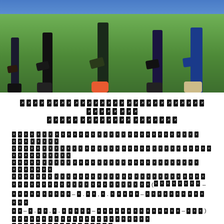[Figure (photo): Photo showing people kneeling on a green sports surface/turf, lower bodies visible, various shoes visible, one person wearing bright pink/orange sneakers in center]
[REDACTED TITLE TEXT - two lines of bold italic redacted words]
[REDACTED BODY TEXT - multiple lines of redacted text with parenthetical content including numbers and dashes, followed by faded redacted lines at bottom]